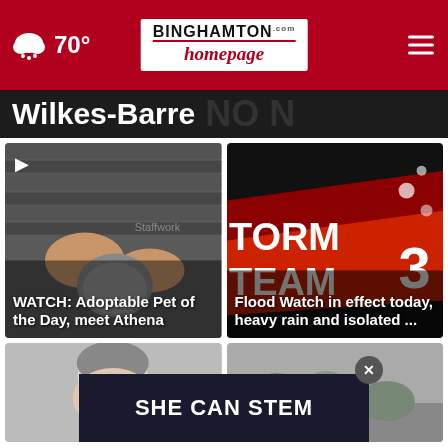70° — Binghamton Homepage
Wilkes-Barre
[Figure (screenshot): Video thumbnail of person petting a gray cat with Staffworks logo visible]
WATCH: Adoptable Pet of the Day, meet Athena
[Figure (screenshot): Storm Team 3 weather graphic with red and dark background]
Flood Watch in effect today, heavy rain and isolated ...
[Figure (screenshot): Two bottom thumbnails with SHE CAN STEM advertisement overlay]
SHE CAN STEM